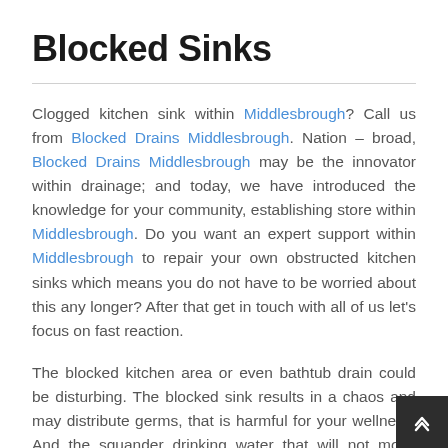Blocked Sinks
Clogged kitchen sink within Middlesbrough? Call us from Blocked Drains Middlesbrough. Nation – broad, Blocked Drains Middlesbrough may be the innovator within drainage; and today, we have introduced the knowledge for your community, establishing store within Middlesbrough. Do you want an expert support within Middlesbrough to repair your own obstructed kitchen sinks which means you do not have to be worried about this any longer? After that get in touch with all of us let's focus on fast reaction.
The blocked kitchen area or even bathtub drain could be disturbing. The blocked sink results in a chaos and may distribute germs, that is harmful for your wellness. And the squander drinking water that will not move makes you to all of them even more. Give us a call instantly in case your